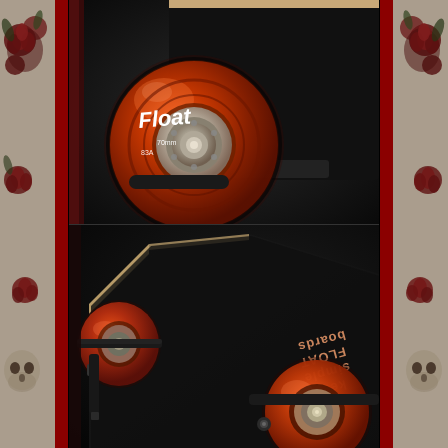[Figure (photo): Close-up of an orange/amber transparent skateboard wheel branded 'Float 70mm 83A' with a silver bearing hub visible, attached to a black longboard deck. Dark moody background with bokeh.]
[Figure (photo): Underside view of a black longboard with orange/amber transparent wheels and black trucks. The board reads 'keep it simple FLOAT boards' in copper/rose-gold lettering (shown upside down in the image). Decorative rose and skull tattoo-style art borders on the left and right sides of the composite image.]